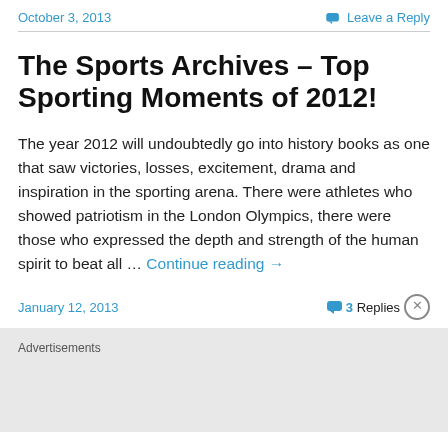October 3, 2013 | Leave a Reply
The Sports Archives – Top Sporting Moments of 2012!
The year 2012 will undoubtedly go into history books as one that saw victories, losses, excitement, drama and inspiration in the sporting arena. There were athletes who showed patriotism in the London Olympics, there were those who expressed the depth and strength of the human spirit to beat all … Continue reading →
January 12, 2013 | 3 Replies
Advertisements